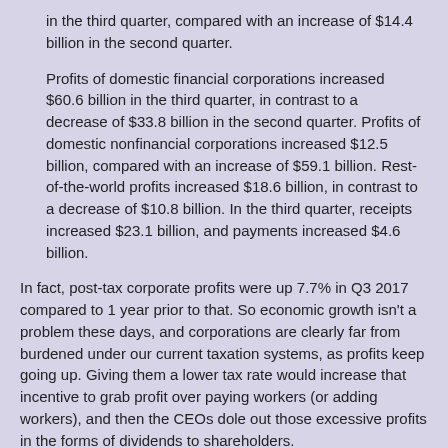in the third quarter, compared with an increase of $14.4 billion in the second quarter.
Profits of domestic financial corporations increased $60.6 billion in the third quarter, in contrast to a decrease of $33.8 billion in the second quarter. Profits of domestic nonfinancial corporations increased $12.5 billion, compared with an increase of $59.1 billion. Rest-of-the-world profits increased $18.6 billion, in contrast to a decrease of $10.8 billion. In the third quarter, receipts increased $23.1 billion, and payments increased $4.6 billion.
In fact, post-tax corporate profits were up 7.7% in Q3 2017 compared to 1 year prior to that. So economic growth isn't a problem these days, and corporations are clearly far from burdened under our current taxation systems, as profits keep going up. Giving them a lower tax rate would increase that incentive to grab profit over paying workers (or adding workers), and then the CEOs dole out those excessive profits in the forms of dividends to shareholders.